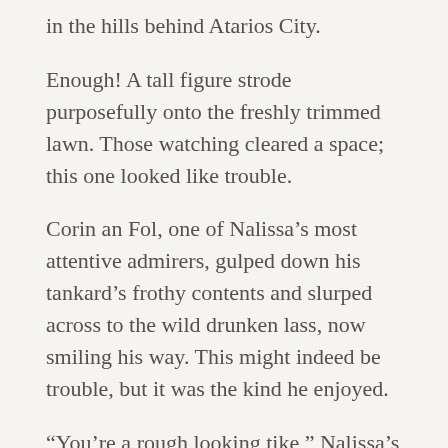in the hills behind Atarios City.
Enough! A tall figure strode purposefully onto the freshly trimmed lawn. Those watching cleared a space; this one looked like trouble.
Corin an Fol, one of Nalissa's most attentive admirers, gulped down his tankard's frothy contents and slurped across to the wild drunken lass, now smiling his way. This might indeed be trouble, but it was the kind he enjoyed.
“You’re a rough looking tike,” Nalissa’s smile twitched at a corner and Corin felt a stirring below. “Northerner, by your pale hue, ungainly height, and big sweaty arms.’ The bottle tilted